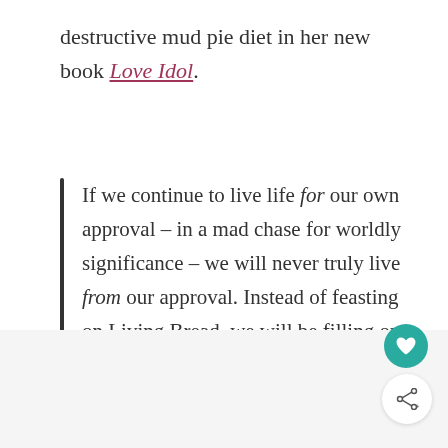destructive mud pie diet in her new book Love Idol.
If we continue to live life for our own approval – in a mad chase for worldly significance – we will never truly live from our approval. Instead of feasting on Living Bread, we will be filling our bellies with metaphorical mud pies.